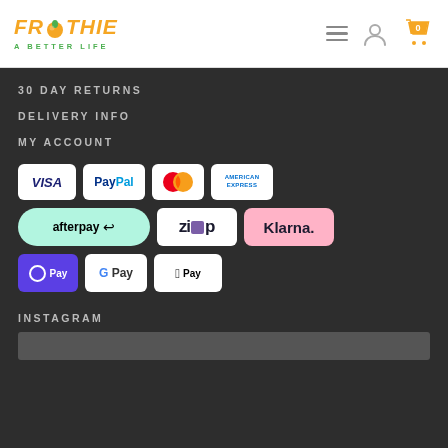[Figure (logo): Froothie 'A Better Life' logo in orange and green with fruit icon]
[Figure (infographic): Navigation icons: hamburger menu, user account, shopping cart with 0 items]
30 DAY RETURNS
DELIVERY INFO
MY ACCOUNT
[Figure (infographic): Payment method logos: Visa, PayPal, Mastercard, American Express, Afterpay, Zip, Klarna, O Pay, G Pay, Apple Pay]
INSTAGRAM
[Figure (photo): Instagram photo strip partially visible at bottom]